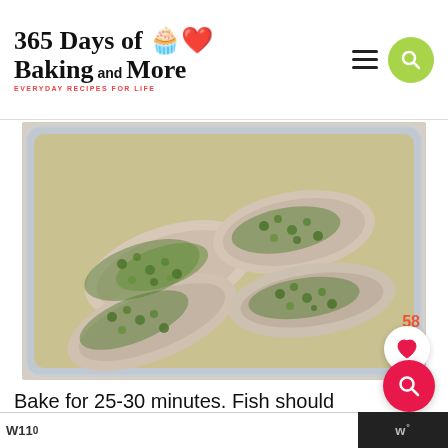365 Days of Baking and More — EVERYDAY RECIPES FOR LIFE
[Figure (photo): Four fish fillets topped with chopped green herbs in a glass baking dish with butter/oil, ready to bake.]
Bake for 25-30 minutes. Fish should flake easily
W110 | w°